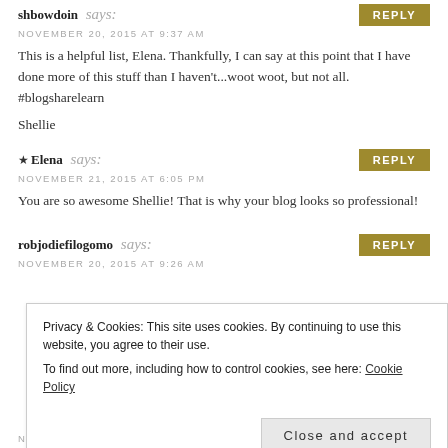shbowdoin says:
NOVEMBER 20, 2015 AT 9:37 AM
This is a helpful list, Elena. Thankfully, I can say at this point that I have done more of this stuff than I haven't...woot woot, but not all. #blogsharelearn
Shellie
★ Elena says:
NOVEMBER 21, 2015 AT 6:05 PM
You are so awesome Shellie! That is why your blog looks so professional!
robjodiefilogomo says:
NOVEMBER 20, 2015 AT 9:26 AM
Privacy & Cookies: This site uses cookies. By continuing to use this website, you agree to their use. To find out more, including how to control cookies, see here: Cookie Policy
Close and accept
NOVEMBER 21, 2015 AT 6:00 PM